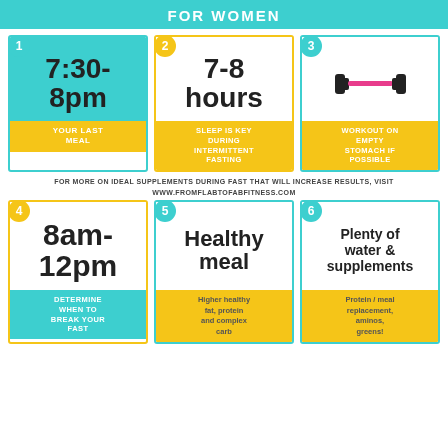FOR WOMEN
[Figure (infographic): Six-step intermittent fasting guide for women: 1) 7:30-8pm your last meal, 2) 7-8 hours sleep is key during intermittent fasting, 3) workout on empty stomach if possible, 4) 8am-12pm determine when to break your fast, 5) Healthy meal - higher healthy fat, protein and complex carb, 6) Plenty of water & supplements - Protein/meal replacement, aminos, greens!]
FOR MORE ON IDEAL SUPPLEMENTS DURING FAST THAT WILL INCREASE RESULTS, VISIT WWW.FROMFLABTOFABFITNESS.COM